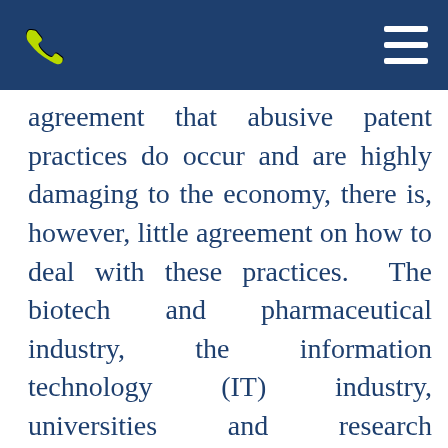agreement that abusive patent practices do occur and are highly damaging to the economy, there is, however, little agreement on how to deal with these practices.  The biotech and pharmaceutical industry, the information technology (IT) industry, universities and research institutions, small businesses, and the investment community each have very different business and economic drivers, which must be weighed as part of an integrated approach if a workable solution is to be found.